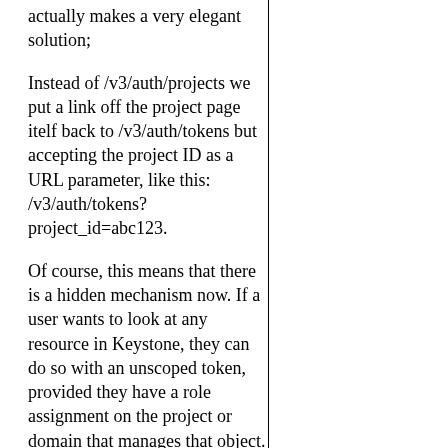actually makes a very elegant solution;
Instead of /v3/auth/projects we put a link off the project page itelf back to /v3/auth/tokens but accepting the project ID as a URL parameter, like this: /v3/auth/tokens?project_id=abc123.
Of course, this means that there is a hidden mechanism now. If a user wants to look at any resource in Keystone, they can do so with an unscoped token, provided they have a role assignment on the project or domain that manages that object.
To this point we have discussed implicit answers to the questions of finding URLs and discovering what actions a